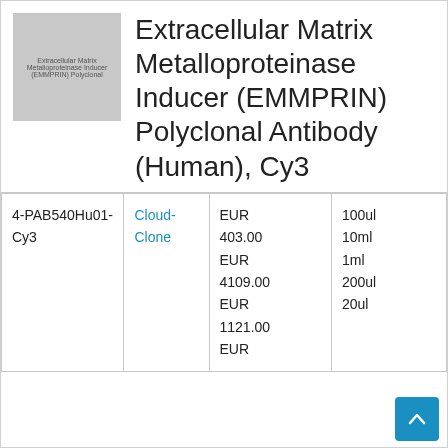[Figure (photo): Product image placeholder showing 'Extracellular Matrix Metalloproteinase Inducer (EMMPRIN) Polyclonal' text on gray background]
Extracellular Matrix Metalloproteinase Inducer (EMMPRIN) Polyclonal Antibody (Human), Cy3
| SKU | Supplier | Price | Size |
| --- | --- | --- | --- |
| 4-PAB540Hu01-Cy3 | Cloud-Clone | EUR 403.00
EUR 4109.00
EUR 1121.00
EUR | 100ul
10ml
1ml
200ul
20ul |